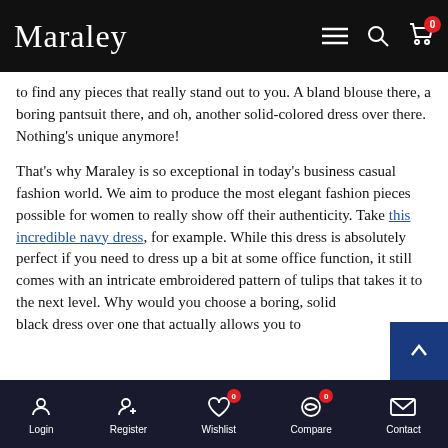Maraley — navigation header with menu, search, and cart icons
to find any pieces that really stand out to you. A bland blouse there, a boring pantsuit there, and oh, another solid-colored dress over there. Nothing's unique anymore!
That's why Maraley is so exceptional in today's business casual fashion world. We aim to produce the most elegant fashion pieces possible for women to really show off their authenticity. Take this incredible navy dress, for example. While this dress is absolutely perfect if you need to dress up a bit at some office function, it still comes with an intricate embroidered pattern of tulips that takes it to the next level. Why would you choose a boring, solid black dress over one that actually allows you to
Login | Register | Wishlist 0 | Compare 0 | Contact